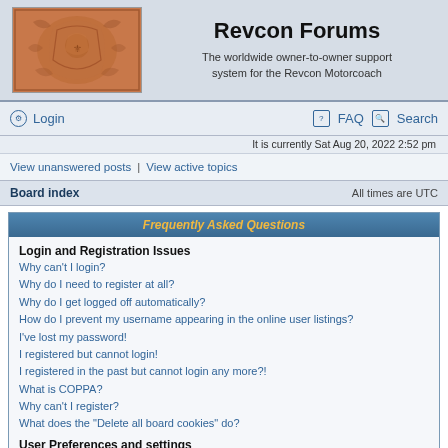Revcon Forums – The worldwide owner-to-owner support system for the Revcon Motorcoach
Login | FAQ | Search
It is currently Sat Aug 20, 2022 2:52 pm
View unanswered posts | View active topics
Board index    All times are UTC
Frequently Asked Questions
Login and Registration Issues
Why can't I login?
Why do I need to register at all?
Why do I get logged off automatically?
How do I prevent my username appearing in the online user listings?
I've lost my password!
I registered but cannot login!
I registered in the past but cannot login any more?!
What is COPPA?
Why can't I register?
What does the "Delete all board cookies" do?
User Preferences and settings
How do I change my settings?